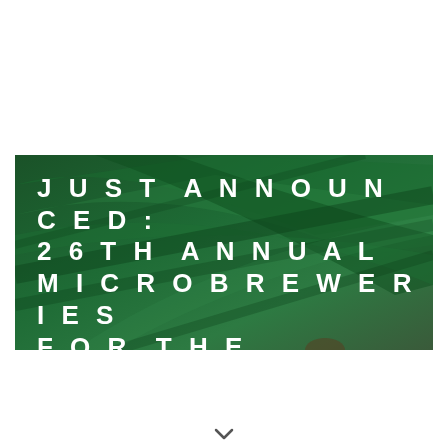[Figure (photo): Dark green tropical leaf background with overlaid bold white letterspaced text reading JUST ANNOUNCED: 26TH ANNUAL MICROBREWERIES FOR THE ENVIRONMENT]
JUST ANNOUNCED: 26TH ANNUAL MICROBREWERIES FOR THE ENVIRONMENT